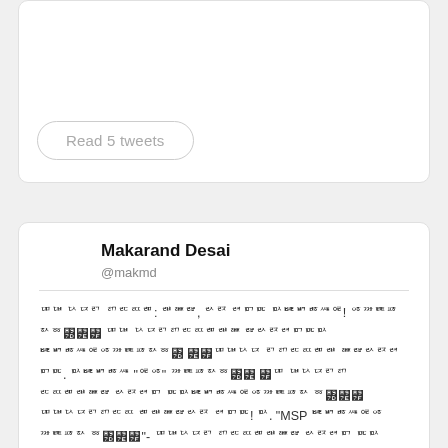Read 5 tweets
Makarand Desai
@makmd
ꥠꥡ ꥢꥣꥤ ꥥꥦꥧꥨ: ꥩꥪꥫ, ꥬꥭ ꥮꥯꥰ ꥱꥲꥳꥴꥵꥶ! ꥷꥸꥹꥺ ꥻꥼ꥽꥾꥿ ꥠꥡ ꥢꥣꥤꥥꥦꥧꥨꥩꥪ ꥫꥬꥭꥮꥯꥰꥱ ꥲꥳꥴꥵꥶꥷꥸꥹꥺꥻꥼ꥽ ꥾꥿ꥠꥡꥢꥣ ꥤꥥꥦꥧꥨꥩ ꥪꥫꥬꥭꥮ ꥯꥰ. ꥱꥲꥳꥴꥵ "ꥶꥷ" ꥸꥹꥺꥻꥼ꥽꥾ ꥿ꥠ ꥡꥢꥣꥤꥥ ꥦꥧꥨꥩꥪꥫ ꥬꥭꥮꥯ ꥰꥱꥲꥳꥴꥵꥶꥷꥸꥹꥺꥻ ꥼ꥽꥾꥿ꥠꥡꥢꥣꥤꥥꥦꥧ ꥨꥩꥪꥫꥬꥭ ꥮꥯꥰ! ꥱ. "MSP ꥲꥳꥴꥵꥶꥷ ꥸꥹꥺꥻ ꥼ꥽꥾꥿"- ꥠꥡꥢꥣꥤ ꥥꥦꥧꥨꥩꥪꥫ ꥬꥭꥮꥯ ꥰꥱ ꥲꥳꥴꥵꥶꥷꥸꥹꥺꥻꥼ ꥽꥾꥿ꥠꥡ ꥢꥣ ꥤꥥꥦ ꥧꥨ ꥩꥪꥫꥬꥭꥮꥯꥰ ꥱꥲꥳꥴꥵꥶꥷꥸꥹꥺꥻꥼ꥽꥾